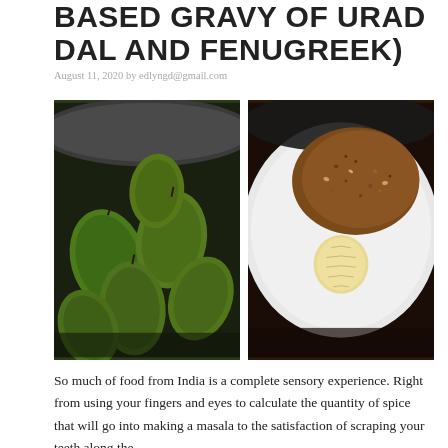BASED GRAVY OF URAD DAL AND FENUGREEK)
August 11, 2020 by edlyngd@gmail.com
[Figure (photo): Two food photos side by side: left shows green raw mangoes in a metal bowl; right shows spices and a whole ingredient on a white plate against a dark background.]
So much of food from India is a complete sensory experience. Right from using your fingers and eyes to calculate the quantity of spice that will go into making a masala to the satisfaction of scraping your teeth along the